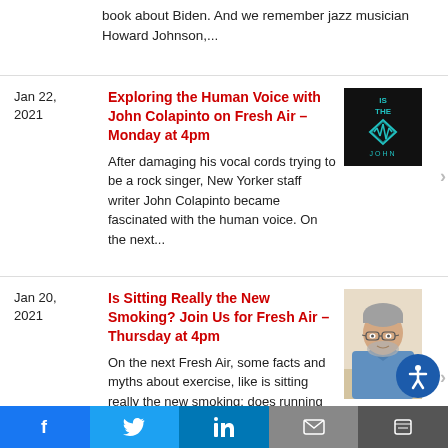book about Biden. And we remember jazz musician Howard Johnson,...
Jan 22, 2021
Exploring the Human Voice with John Colapinto on Fresh Air – Monday at 4pm
After damaging his vocal cords trying to be a rock singer, New Yorker staff writer John Colapinto became fascinated with the human voice. On the next...
[Figure (other): Book cover: 'Is The Voice' by John, black background with teal diamond/voice waveform logo]
Jan 20, 2021
Is Sitting Really the New Smoking? Join Us for Fresh Air – Thursday at 4pm
On the next Fresh Air, some facts and myths about exercise, like is sitting really the new smoking; does running ruin your knees. Terry Gross...
[Figure (photo): Photo of a man with gray hair and beard wearing a blue shirt]
f  t  in  [email]  [share]